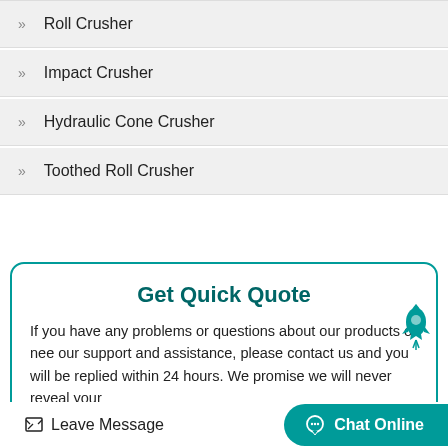Roll Crusher
Impact Crusher
Hydraulic Cone Crusher
Toothed Roll Crusher
Get Quick Quote
If you have any problems or questions about our products or need our support and assistance, please contact us and you will be replied within 24 hours. We promise we will never reveal your